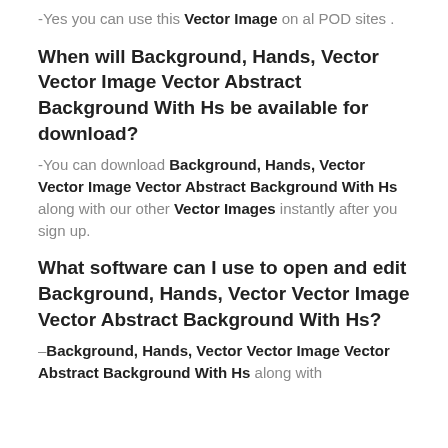-Yes you can use this Vector Image on al POD sites .
When will Background, Hands, Vector Vector Image Vector Abstract Background With Hs be available for download?
-You can download Background, Hands, Vector Vector Image Vector Abstract Background With Hs along with our other Vector Images instantly after you sign up.
What software can I use to open and edit Background, Hands, Vector Vector Image Vector Abstract Background With Hs?
–Background, Hands, Vector Vector Image Vector Abstract Background With Hs along with